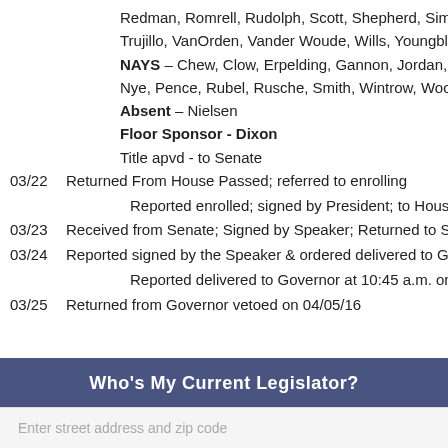Redman, Romrell, Rudolph, Scott, Shepherd, Sims, Thompson, Trujillo, VanOrden, Vander Woude, Wills, Youngblood, Mr. Sp
NAYS – Chew, Clow, Erpelding, Gannon, Jordan, King, Kloc, Nye, Pence, Rubel, Rusche, Smith, Wintrow, Wood
Absent – Nielsen
Floor Sponsor - Dixon
Title apvd - to Senate
03/22 Returned From House Passed; referred to enrolling
Reported enrolled; signed by President; to House for signature
03/23 Received from Senate; Signed by Speaker; Returned to Senate
03/24 Reported signed by the Speaker & ordered delivered to Governor
Reported delivered to Governor at 10:45 a.m. on 03/24/16
03/25 Returned from Governor vetoed on 04/05/16
Who's My Current Legislator?
Enter street address and zip code